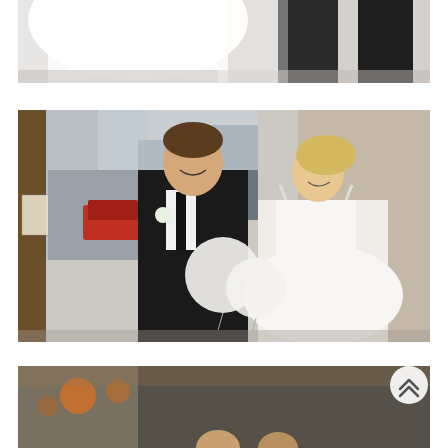[Figure (photo): Top portion of a wedding photo showing a bride in white dress and groom in black suit, cropped to show lower bodies walking on a sidewalk]
[Figure (photo): A smiling groom in a black suit with black tie and boutonniere walks arm-in-arm with a smiling bride in a white spaghetti-strap wedding gown, carrying white balloons, in an urban alley setting]
[Figure (photo): Bottom portion of another wedding photo, partially cropped, showing an urban outdoor scene with bokeh lights]